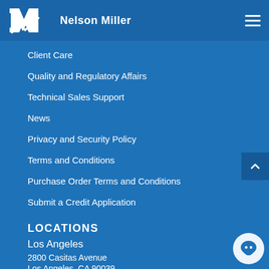Nelson Miller
Client Care
Quality and Regulatory Affairs
Technical Sales Support
News
Privacy and Security Policy
Terms and Conditions
Purchase Order Terms and Conditions
Submit a Credit Application
LOCATIONS
Los Angeles
2800 Casitas Avenue
Los Angeles, CA 90039